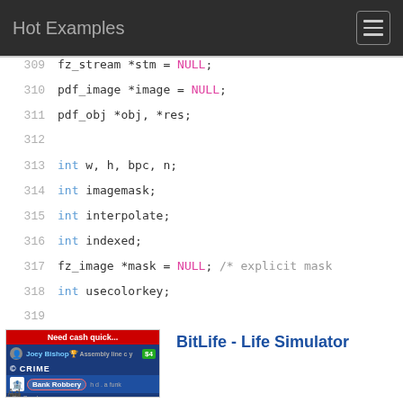Hot Examples
[Figure (screenshot): Code viewer showing C source code lines 309-322 with syntax highlighting: keywords in blue, NULL values in pink/magenta, comments in gray. Lines shown: fz_stream *stm = NULL; pdf_image *image = NULL; pdf_obj *obj, *res; int w, h, bpc, n; int imagemask; int interpolate; int indexed; fz_image *mask = NULL; /* explicit mask */ int usecolorkey; int i; fz_context *ctx = xref->ctx;]
[Figure (screenshot): Advertisement image for BitLife - Life Simulator mobile game, showing a bank robbery screen with characters and emoji]
Ad